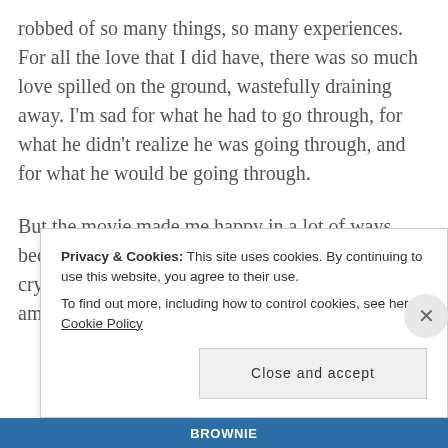robbed of so many things, so many experiences. For all the love that I did have, there was so much love spilled on the ground, wastefully draining away. I'm sad for what he had to go through, for what he didn't realize he was going through, and for what he would be going through.
But the movie made me happy in a lot of ways, because that pain was clarifying for me – it crystallized, for good and bad, the person that I am. It
Privacy & Cookies: This site uses cookies. By continuing to use this website, you agree to their use. To find out more, including how to control cookies, see here: Cookie Policy
Close and accept